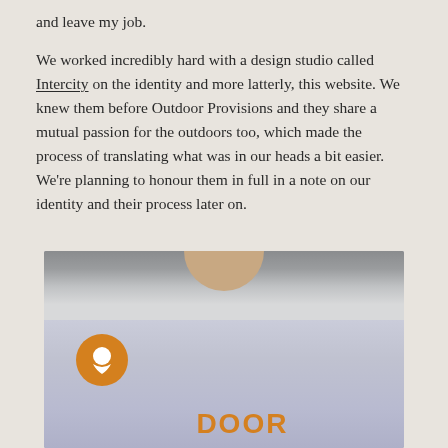and leave my job.
We worked incredibly hard with a design studio called Intercity on the identity and more latterly, this website. We knew them before Outdoor Provisions and they share a mutual passion for the outdoors too, which made the process of translating what was in our heads a bit easier. We're planning to honour them in full in a note on our identity and their process later on.
[Figure (photo): Close-up photo of a person wearing a light grey/lavender t-shirt with orange lettering reading 'DOOR' (partial, likely 'OUTDOOR'). Rocky/water background visible at top. An orange circular chat/comment icon overlay is visible in the lower left of the image.]